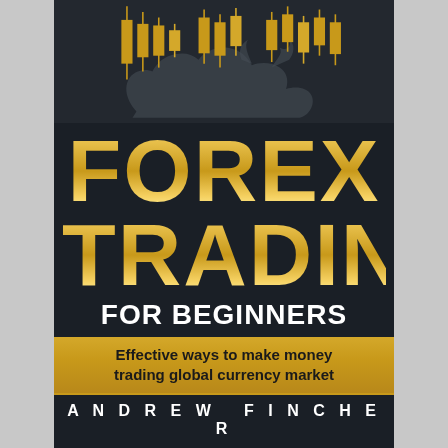[Figure (illustration): Book cover for 'Forex Trading for Beginners' by Andrew Fincher. Dark background with gold candlestick chart icons at the top, a silhouette of a bull in the background, large gold gradient text 'FOREX TRADING' and white 'FOR BEGINNERS', a gold subtitle bar, and author name at the bottom.]
FOREX TRADING FOR BEGINNERS
Effective ways to make money trading global currency market
ANDREW FINCHER